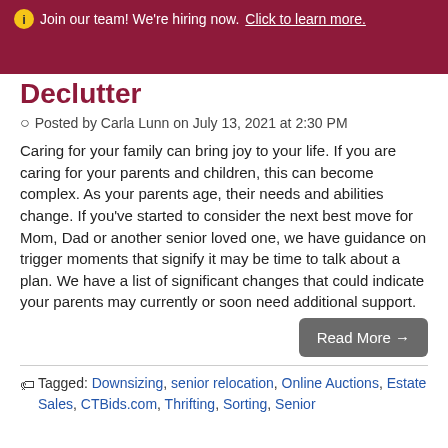Join our team! We're hiring now. Click to learn more.
Declutter
Posted by Carla Lunn on July 13, 2021 at 2:30 PM
Caring for your family can bring joy to your life. If you are caring for your parents and children, this can become complex. As your parents age, their needs and abilities change. If you've started to consider the next best move for Mom, Dad or another senior loved one, we have guidance on trigger moments that signify it may be time to talk about a plan. We have a list of significant changes that could indicate your parents may currently or soon need additional support.
Read More →
Tagged: Downsizing, senior relocation, Online Auctions, Estate Sales, CTBids.com, Thrifting, Sorting, Senior